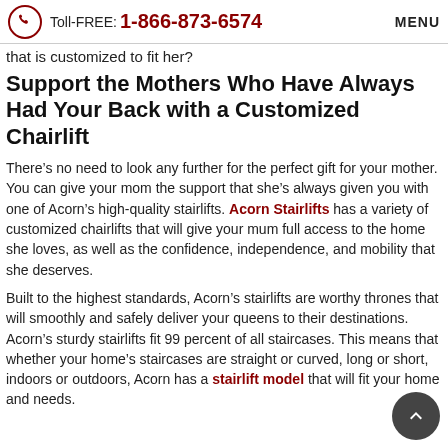Toll-FREE: 1-866-873-6574  MENU
that is customized to fit her?
Support the Mothers Who Have Always Had Your Back with a Customized Chairlift
There’s no need to look any further for the perfect gift for your mother. You can give your mom the support that she’s always given you with one of Acorn’s high-quality stairlifts. Acorn Stairlifts has a variety of customized chairlifts that will give your mum full access to the home she loves, as well as the confidence, independence, and mobility that she deserves.
Built to the highest standards, Acorn’s stairlifts are worthy thrones that will smoothly and safely deliver your queens to their destinations. Acorn’s sturdy stairlifts fit 99 percent of all staircases. This means that whether your home’s staircases are straight or curved, long or short, indoors or outdoors, Acorn has a stairlift model that will fit your home and needs.